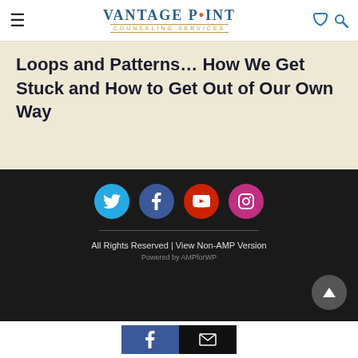Vantage Point Counseling Services
Loops and Patterns... How We Get Stuck and How to Get Out of Our Own Way
[Figure (infographic): Dark footer with four social media icons: Twitter (blue circle), Facebook (dark blue circle), YouTube (red circle), Instagram (pink-purple circle)]
All Rights Reserved | View Non-AMP Version
Powered by AMPforWP